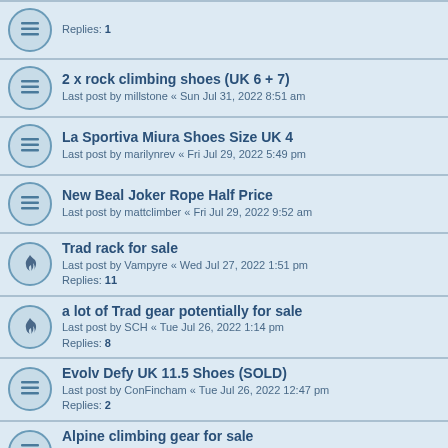Replies: 1
2 x rock climbing shoes (UK 6 + 7)
Last post by millstone « Sun Jul 31, 2022 8:51 am
La Sportiva Miura Shoes Size UK 4
Last post by marilynrev « Fri Jul 29, 2022 5:49 pm
New Beal Joker Rope Half Price
Last post by mattclimber « Fri Jul 29, 2022 9:52 am
Trad rack for sale
Last post by Vampyre « Wed Jul 27, 2022 1:51 pm
Replies: 11
a lot of Trad gear potentially for sale
Last post by SCH « Tue Jul 26, 2022 1:14 pm
Replies: 8
Evolv Defy UK 11.5 Shoes (SOLD)
Last post by ConFincham « Tue Jul 26, 2022 12:47 pm
Replies: 2
Alpine climbing gear for sale
Last post by miketfowen « Sun Jul 24, 2022 3:22 pm
Replies: 1
Climbing Gear for Sale
Last post by seemonster « Thu Jul 21, 2022 8:48 pm
Replies: 1
Shoes for Sale
Last post by GClamp « Thu Jul 21, 2022 4:42 pm
Replies: 1
Harnesses for Sale